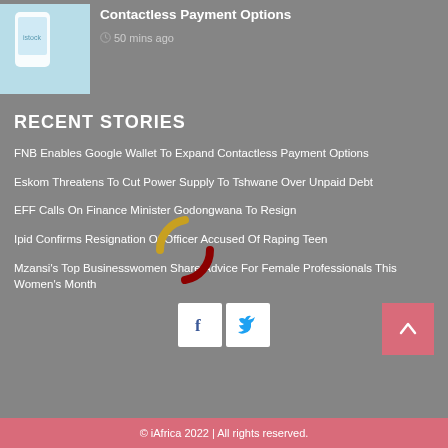[Figure (photo): Smartphone device on light blue background]
Contactless Payment Options
50 mins ago
RECENT STORIES
FNB Enables Google Wallet To Expand Contactless Payment Options
Eskom Threatens To Cut Power Supply To Tshwane Over Unpaid Debt
EFF Calls On Finance Minister Godongwana To Resign
Ipid Confirms Resignation Of Officer Accused Of Raping Teen
Mzansi's Top Businesswomen Share Advice For Female Professionals This Women's Month
© iAfrica 2022 | All rights reserved.